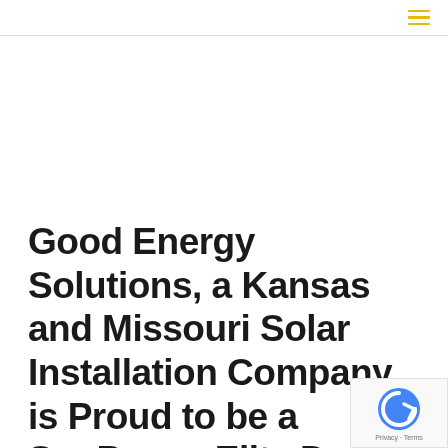Good Energy Solutions, a Kansas and Missouri Solar Installation Company, is Proud to be a SunPower Elite Dealer for Residential Home Solar. SunPower Solar Panels Make…